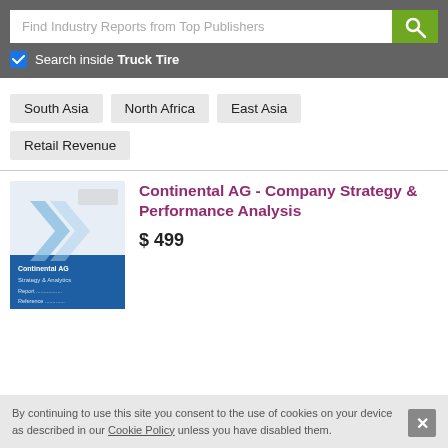[Figure (screenshot): Search bar with placeholder text 'Find Industry Reports from Top Publishers' and a green search button with magnifying glass icon]
Search inside Truck Tire
South Asia
North Africa
East Asia
Retail Revenue
[Figure (photo): Book cover for Continental AG - Company Strategy & Performance Analysis report]
Continental AG - Company Strategy & Performance Analysis
$ 499
By continuing to use this site you consent to the use of cookies on your device as described in our Cookie Policy unless you have disabled them.